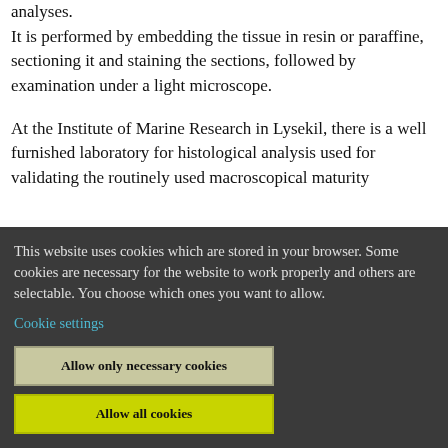analyses. It is performed by embedding the tissue in resin or paraffine, sectioning it and staining the sections, followed by examination under a light microscope.
At the Institute of Marine Research in Lysekil, there is a well furnished laboratory for histological analysis used for validating the routinely used macroscopical maturity
This website uses cookies which are stored in your browser. Some cookies are necessary for the website to work properly and others are selectable. You choose which ones you want to allow.
Cookie settings
Allow only necessary cookies
Allow all cookies